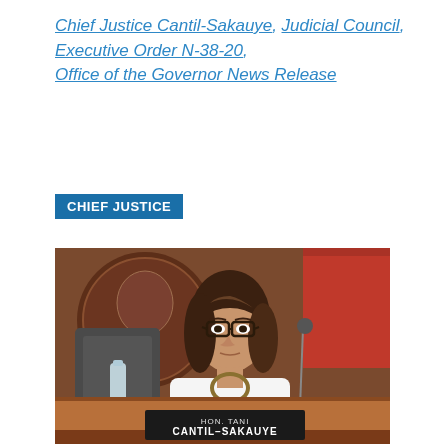Chief Justice Cantil-Sakauye, Judicial Council, Executive Order N-38-20, Office of the Governor News Release
CHIEF JUSTICE
[Figure (photo): Photo of Hon. Tani Cantil-Sakauye seated at a judicial bench with a nameplate reading 'HON. TANI CANTIL-SAKAUYE'. Behind her is a seal dated 1926 and a red flag.]